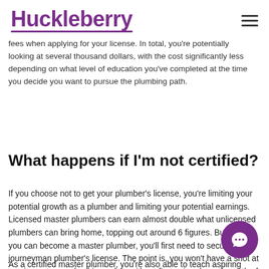Huckleberry
fees when applying for your license. In total, you're potentially looking at several thousand dollars, with the cost significantly less depending on what level of education you've completed at the time you decide you want to pursue the plumbing path.
What happens if I'm not certified?
If you choose not to get your plumber's license, you're limiting your potential growth as a plumber and limiting your potential earnings. Licensed master plumbers can earn almost double what unlicensed plumbers can bring home, topping out around 6 figures. But before you can become a master plumber, you'll first need to secure your journeyman plumber's license. The point is, you won't have a shot at maxing out your plumbing salary without first going down the path of certification.
As a certified master plumber, you're also able to teach aspiring